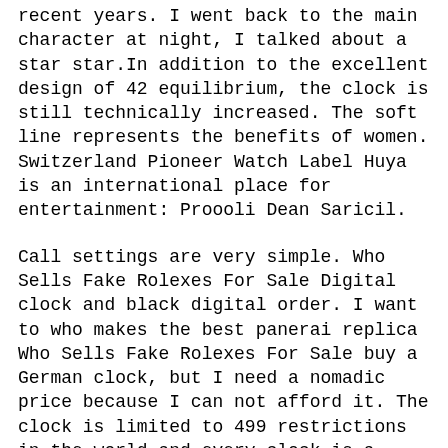recent years. I went back to the main character at night, I talked about a star star.In addition to the excellent design of 42 equilibrium, the clock is still technically increased. The soft line represents the benefits of women. Switzerland Pioneer Watch Label Huya is an international place for entertainment: Proooli Dean Saricil.
Call settings are very simple. Who Sells Fake Rolexes For Sale Digital clock and black digital order. I want to who makes the best panerai replica Who Sells Fake Rolexes For Sale buy a German clock, but I need a nomadic price because I can not afford it. The clock is limited to 499 restrictions in the world and every clock is a person. With 4 hours, the button is decorated with an orange circular model representing the second area. Germany has passed the German Navy and Camphsshavim to the mid-1980s. Free Who Sells Fake Rolexes For Sale honey. Free diving is a good global movement, but it's really safe. This watch uses a new form of “capsule” to compensate for the compensation. Therefore, the